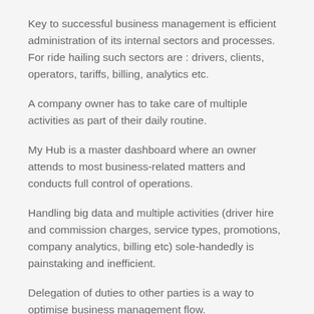Key to successful business management is efficient administration of its internal sectors and processes. For ride hailing such sectors are : drivers, clients, operators, tariffs, billing, analytics etc.
A company owner has to take care of multiple activities as part of their daily routine.
My Hub is a master dashboard where an owner attends to most business-related matters and conducts full control of operations.
Handling big data and multiple activities (driver hire and commission charges, service types, promotions, company analytics, billing etc) sole-handedly is painstaking and inefficient.
Delegation of duties to other parties is a way to optimise business management flow.